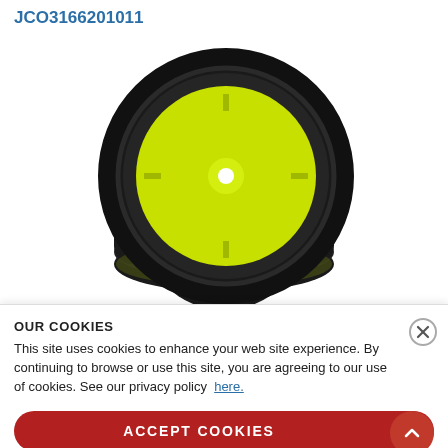JCO3166201011
[Figure (photo): Two RC car tires/wheels with black rubber treads and bright yellow/neon plastic wheel inserts, stacked on top of each other against a white background.]
OUR COOKIES
This site uses cookies to enhance your web site experience. By continuing to browse or use this site, you are agreeing to our use of cookies. See our privacy policy here.
ACCEPT COOKIES
Earn 13 points on this item!